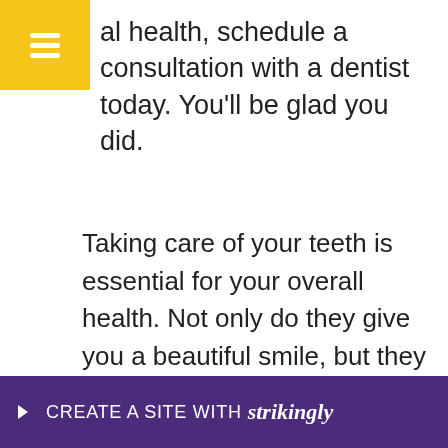al health, schedule a consultation with a dentist today. You'll be glad you did.
Taking care of your teeth is essential for your overall health. Not only do they give you a beautiful smile, but they are important for your self-esteem. A healthy, bright smile also helps you to feel confident about your appearance and your abilities. The right dental care can also prevent serious medical conditions like heart disease and diabetes. Keeping your teeth clean is essential to over... worr... visit
CREATE A SITE WITH strikingly